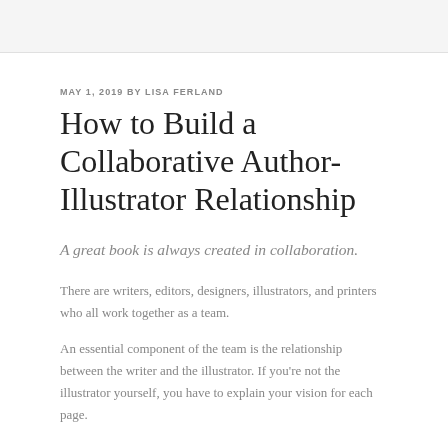MAY 1, 2019 BY LISA FERLAND
How to Build a Collaborative Author-Illustrator Relationship
A great book is always created in collaboration.
There are writers, editors, designers, illustrators, and printers who all work together as a team.
An essential component of the team is the relationship between the writer and the illustrator. If you're not the illustrator yourself, you have to explain your vision for each page.